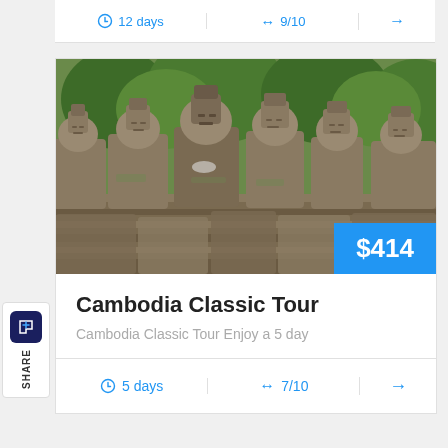| Duration | Rating | Action |
| --- | --- | --- |
| 12 days | 9/10 | → |
[Figure (photo): Stone Buddha statue faces at Angkor Thom, Cambodia, with green tree canopy in background]
$414
Cambodia Classic Tour
Cambodia Classic Tour Enjoy a 5 day
| Duration | Rating | Action |
| --- | --- | --- |
| 5 days | 7/10 | → |